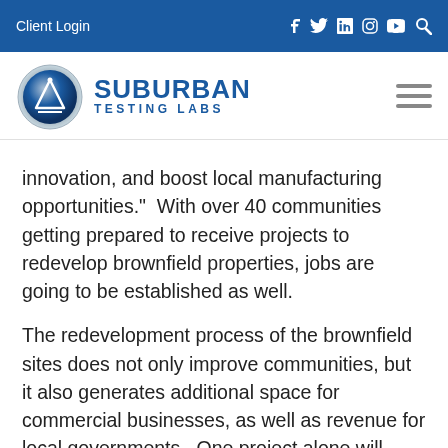Client Login
[Figure (logo): Suburban Testing Labs logo with globe icon]
innovation, and boost local manufacturing opportunities."  With over 40 communities getting prepared to receive projects to redevelop brownfield properties, jobs are going to be established as well.
The redevelopment process of the brownfield sites does not only improve communities, but it also generates additional space for commercial businesses, as well as revenue for local governments.  One project alone will provide housing for 140 individuals and create